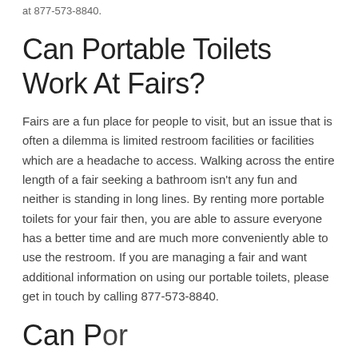at 877-573-8840.
Can Portable Toilets Work At Fairs?
Fairs are a fun place for people to visit, but an issue that is often a dilemma is limited restroom facilities or facilities which are a headache to access. Walking across the entire length of a fair seeking a bathroom isn't any fun and neither is standing in long lines. By renting more portable toilets for your fair then, you are able to assure everyone has a better time and are much more conveniently able to use the restroom. If you are managing a fair and want additional information on using our portable toilets, please get in touch by calling 877-573-8840.
Can Portable...